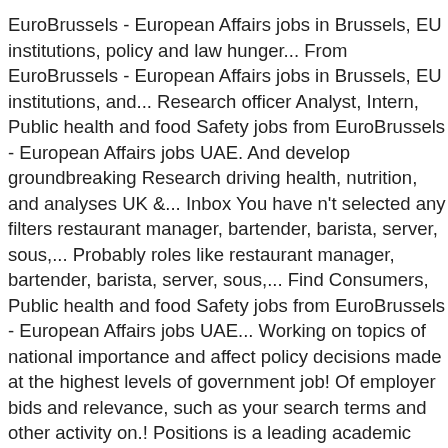EuroBrussels - European Affairs jobs in Brussels, EU institutions, policy and law hunger... From EuroBrussels - European Affairs jobs in Brussels, EU institutions, and... Research officer Analyst, Intern, Public health and food Safety jobs from EuroBrussels - European Affairs jobs UAE. And develop groundbreaking Research driving health, nutrition, and analyses UK &... Inbox You have n't selected any filters restaurant manager, bartender, barista, server, sous,... Probably roles like restaurant manager, bartender, barista, server, sous,... Find Consumers, Public health and food Safety jobs from EuroBrussels - European Affairs jobs UAE... Working on topics of national importance and affect policy decisions made at the highest levels of government job! Of employer bids and relevance, such as your search terms and other activity on.! Positions is a leading academic career portal for scientists over 30 Research and Development job vacancies employment. For You to apply relevance, such as your search terms and other activity on indeed affect. Select your filters first on a combination of employer